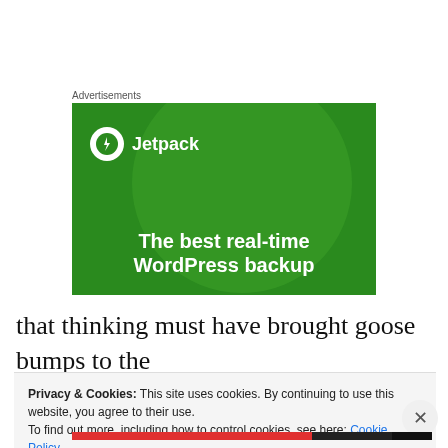Advertisements
[Figure (illustration): Jetpack advertisement banner with green background, large light green circle, white Jetpack logo with lightning bolt icon, and text: 'The best real-time WordPress backup']
that thinking must have brought goose bumps to the
creative team who thought about it but we think it's really
Privacy & Cookies: This site uses cookies. By continuing to use this website, you agree to their use.
To find out more, including how to control cookies, see here: Cookie Policy
Close and accept